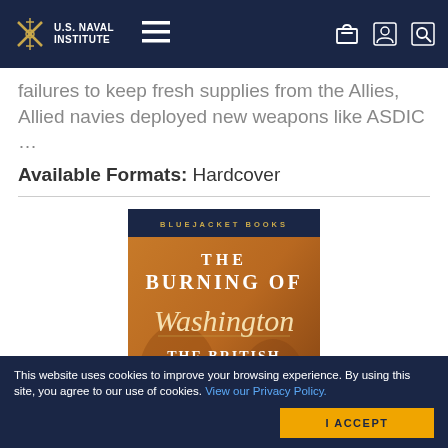U.S. Naval Institute — navigation bar
failures to keep fresh supplies from the Allies, Allied navies deployed new weapons like ASDIC …
Available Formats: Hardcover
[Figure (illustration): Book cover: 'The Burning of Washington: The British Invasion of 1814' — Bluejacket Books series. Orange/amber background with historical battle scene illustration. Title text in serif font.]
This website uses cookies to improve your browsing experience. By using this site, you agree to our use of cookies. View our Privacy Policy.